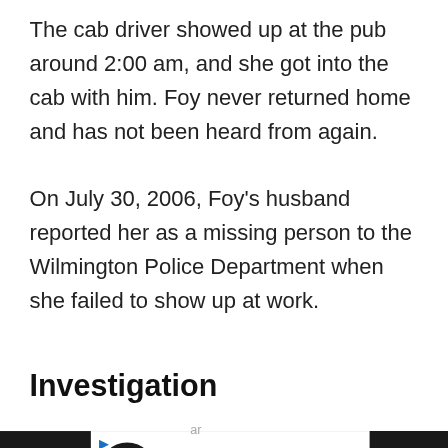The cab driver showed up at the pub around 2:00 am, and she got into the cab with him. Foy never returned home and has not been heard from again.
On July 30, 2006, Foy's husband reported her as a missing person to the Wilmington Police Department when she failed to show up at work.
Investigation
[Figure (other): Advertisement banner at bottom of page: dark background with white section containing circular logo, 'Visit Premium Outlets®' text, blue diamond arrow icon, and right-side dark panel with 'W°' branding. Small navigation arrows and X close button on left side.]